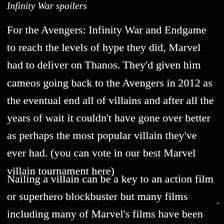Infinity War spoilers
For the Avengers: Infinity War and Endgame to reach the levels of hype they did, Marvel had to deliver on Thanos. They'd given him cameos going back to the Avengers in 2012 as the eventual end all of villains and after all the years of wait it couldn't have gone over better as perhaps the most popular villain they've ever had.  (you can vote in our best Marvel villain tournament here)
Nailing a villain can be a key to an action film or superhero blockbuster but many films including many of Marvel's films have been